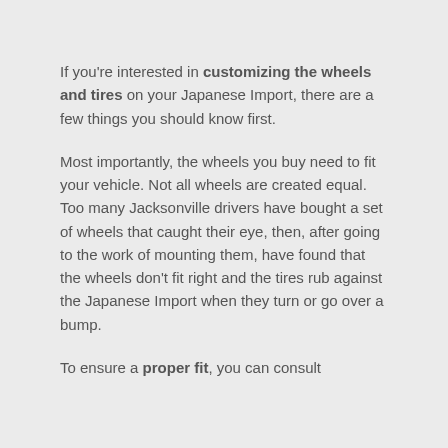If you're interested in customizing the wheels and tires on your Japanese Import, there are a few things you should know first.
Most importantly, the wheels you buy need to fit your vehicle. Not all wheels are created equal. Too many Jacksonville drivers have bought a set of wheels that caught their eye, then, after going to the work of mounting them, have found that the wheels don't fit right and the tires rub against the Japanese Import when they turn or go over a bump.
To ensure a proper fit, you can consult